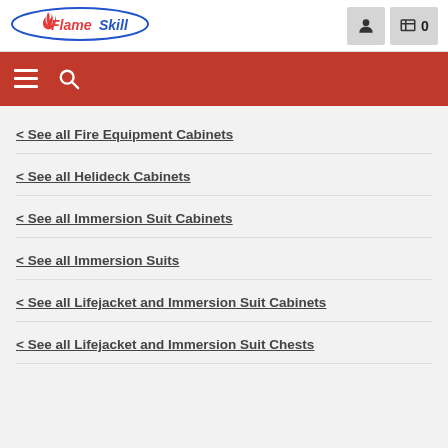[Figure (logo): FlameSkill logo with red and blue text inside an oval border]
Navigation top bar with user account icon and cart showing 0 items
Red navigation bar with hamburger menu and search icon
< See all Fire Equipment Cabinets
< See all Helideck Cabinets
< See all Immersion Suit Cabinets
< See all Immersion Suits
< See all Lifejacket and Immersion Suit Cabinets
< See all Lifejacket and Immersion Suit Chests